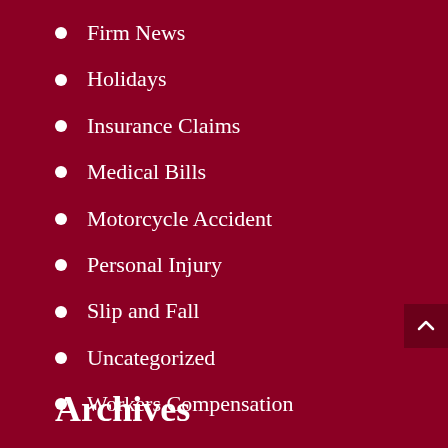Firm News
Holidays
Insurance Claims
Medical Bills
Motorcycle Accident
Personal Injury
Slip and Fall
Uncategorized
Workers Compensation
Archives